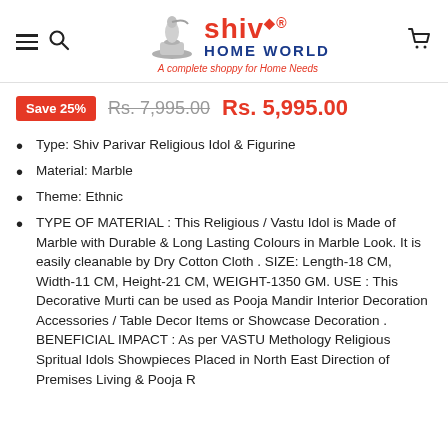Shiv Home World — A complete shoppy for Home Needs
Save 25%  Rs. 7,995.00  Rs. 5,995.00
Type: Shiv Parivar Religious Idol & Figurine
Material: Marble
Theme: Ethnic
TYPE OF MATERIAL : This Religious / Vastu Idol is Made of Marble with Durable & Long Lasting Colours in Marble Look. It is easily cleanable by Dry Cotton Cloth . SIZE: Length-18 CM, Width-11 CM, Height-21 CM, WEIGHT-1350 GM. USE : This Decorative Murti can be used as Pooja Mandir Interior Decoration Accessories / Table Decor Items or Showcase Decoration . BENEFICIAL IMPACT : As per VASTU Methology Religious Spritual Idols Showpieces Placed in North East Direction of Premises Living & Pooja Room